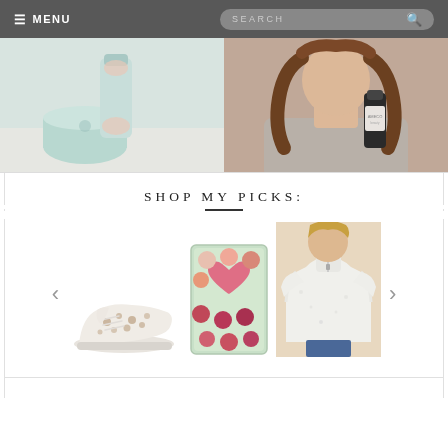MENU | SEARCH
[Figure (photo): Two side-by-side product lifestyle photos: left shows hands holding a light blue/mint canister or bottle above a round mint container; right shows a woman with long brown wavy hair holding a dark-bottled beauty product]
SHOP MY PICKS:
[Figure (photo): Carousel of shoppable product picks: leopard print sneaker shoes on left, a square makeup eyeshadow palette with heart design in center, a white fluffy quarter-zip sherpa pullover sweater on right; left and right navigation arrows]